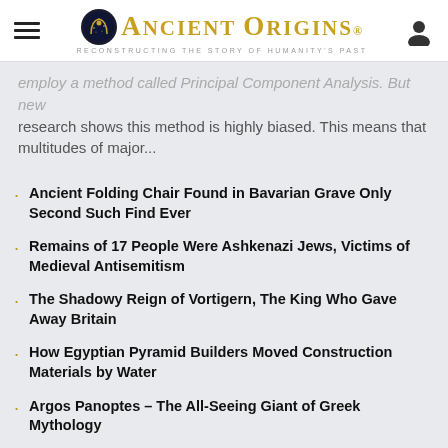Ancient Origins — Reconstructing the Story of Humanity's Past
employ a method called Principal Component Analysis. But new research shows this method is highly biased. This means that multitudes of major...
Ancient Folding Chair Found in Bavarian Grave Only Second Such Find Ever
Remains of 17 People Were Ashkenazi Jews, Victims of Medieval Antisemitism
The Shadowy Reign of Vortigern, The King Who Gave Away Britain
How Egyptian Pyramid Builders Moved Construction Materials by Water
Argos Panoptes – The All-Seeing Giant of Greek Mythology
MYTHS & LEGENDS